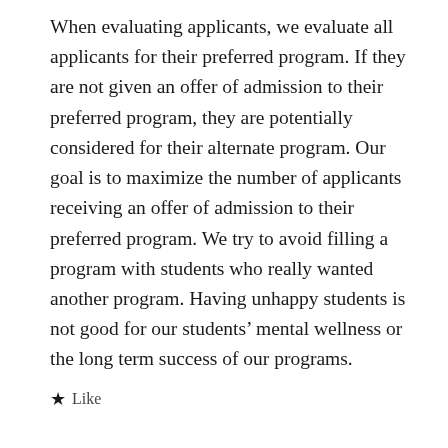When evaluating applicants, we evaluate all applicants for their preferred program. If they are not given an offer of admission to their preferred program, they are potentially considered for their alternate program. Our goal is to maximize the number of applicants receiving an offer of admission to their preferred program. We try to avoid filling a program with students who really wanted another program. Having unhappy students is not good for our students' mental wellness or the long term success of our programs.
★ Like